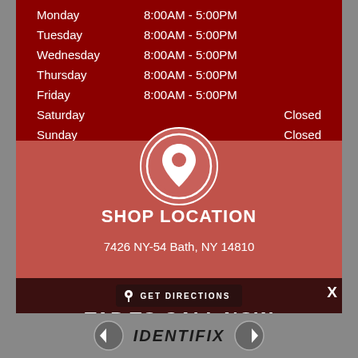| Day | Hours |
| --- | --- |
| Monday | 8:00AM - 5:00PM |
| Tuesday | 8:00AM - 5:00PM |
| Wednesday | 8:00AM - 5:00PM |
| Thursday | 8:00AM - 5:00PM |
| Friday | 8:00AM - 5:00PM |
| Saturday | Closed |
| Sunday | Closed |
[Figure (illustration): Location pin icon in white circle on rose/pink background]
SHOP LOCATION
7426 NY-54 Bath, NY 14810
GET DIRECTIONS
TAP TO CALL NOW
607-776-3598
[Figure (logo): IDENTIFIX logo with navigation arrows on gray background]